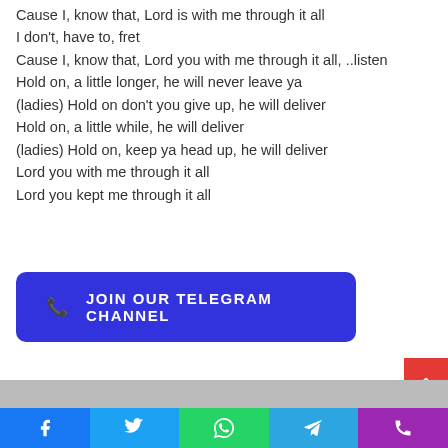Cause I, know that, Lord is with me through it all
I don't, have to, fret
Cause I, know that, Lord you with me through it all, ..listen
Hold on, a little longer, he will never leave ya
(ladies) Hold on don't you give up, he will deliver
Hold on, a little while, he will deliver
(ladies) Hold on, keep ya head up, he will deliver
Lord you with me through it all
Lord you kept me through it all
[Figure (infographic): Blue button with phone icon reading JOIN OUR TELEGRAM CHANNEL]
[Figure (infographic): Bottom social media share bar: Facebook, Twitter, WhatsApp, Telegram, Phone]
[Figure (photo): Partial image strip visible at bottom of page]
[Figure (other): Red scroll-to-top button with up arrow on right side]